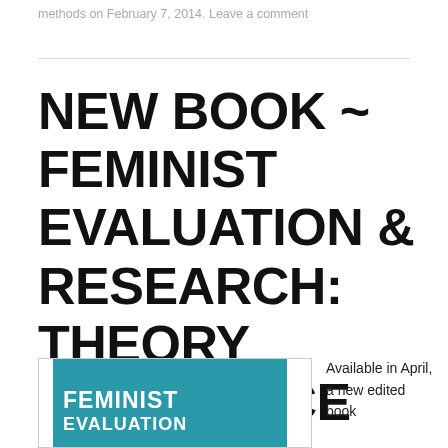methods on February 7, 2014. Leave a comment
NEW BOOK ~ FEMINIST EVALUATION & RESEARCH: THEORY & PRACTICE
[Figure (illustration): Book cover showing 'FEMINIST EVALUATION' text on teal/dark cyan background, partially visible]
Available in April, a new edited book